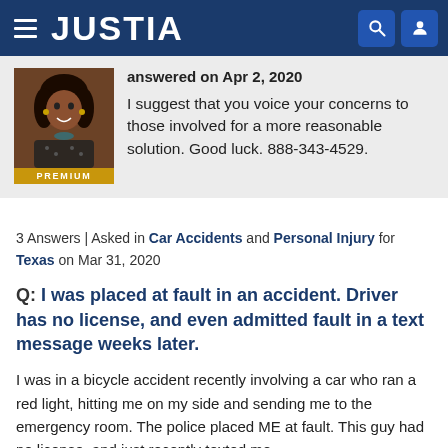JUSTIA
answered on Apr 2, 2020
I suggest that you voice your concerns to those involved for a more reasonable solution. Good luck. 888-343-4529.
3 Answers | Asked in Car Accidents and Personal Injury for Texas on Mar 31, 2020
Q: I was placed at fault in an accident. Driver has no license, and even admitted fault in a text message weeks later.
I was in a bicycle accident recently involving a car who ran a red light, hitting me on my side and sending me to the emergency room. The police placed ME at fault. This guy had no license, and just recently texted me